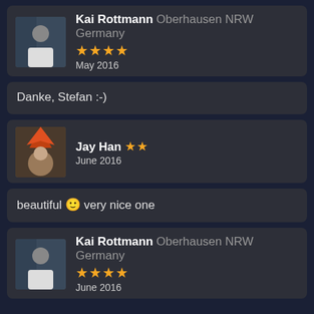[Figure (screenshot): User avatar photo of Kai Rottmann - person in white shirt]
Kai Rottmann Oberhausen NRW Germany ★★★★ May 2016
Danke, Stefan :-)
[Figure (screenshot): User avatar photo of Jay Han - person in costume with feathered headdress]
Jay Han ★★ June 2016
beautiful 🙂 very nice one
[Figure (screenshot): User avatar photo of Kai Rottmann - person in white shirt]
Kai Rottmann Oberhausen NRW Germany ★★★★ June 2016